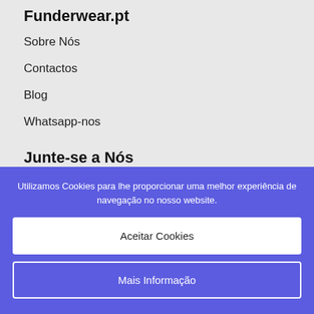Funderwear.pt
Sobre Nós
Contactos
Blog
Whatsapp-nos
Junte-se a Nós
Utilizamos Cookies para lhe proporcionar uma melhor experiência de navegação no nosso website.
Aceitar Cookies
Mais Informação